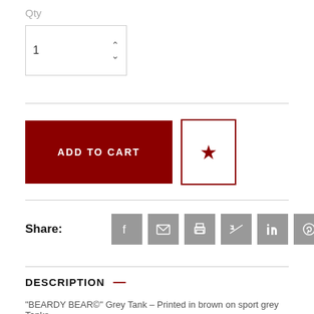Qty
1
ADD TO CART
[Figure (infographic): Wishlist/favorite button with dark red star icon inside a bordered box]
Share:
[Figure (infographic): Social share icons: Facebook, Email, Print, Twitter, LinkedIn, Pinterest — all in grey square buttons]
DESCRIPTION
"BEARDY BEAR©" Grey Tank – Printed in brown on sport grey Tanks